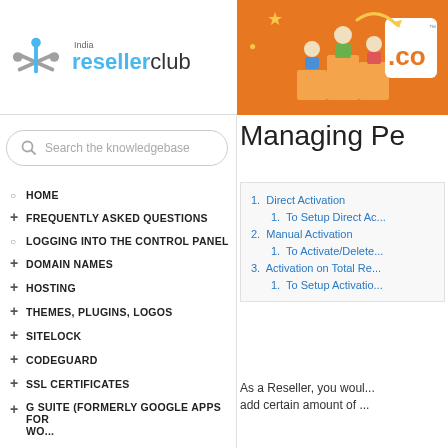[Figure (logo): India ResellerClub logo on white background, left side of header]
[Figure (illustration): Orange banner with .CO domain logo and cartoon figures on podium]
Search the knowledgebase
HOME
FREQUENTLY ASKED QUESTIONS
LOGGING INTO THE CONTROL PANEL
DOMAIN NAMES
HOSTING
THEMES, PLUGINS, LOGOS
SITELOCK
CODEGUARD
SSL CERTIFICATES
G SUITE (FORMERLY GOOGLE APPS FOR ...
Managing Pe
1. Direct Activation
1. To Setup Direct Ac...
2. Manual Activation
1. To Activate/Delete...
3. Activation on Total Re...
1. To Setup Activatio...
As a Reseller, you woul... add certain amount of ...